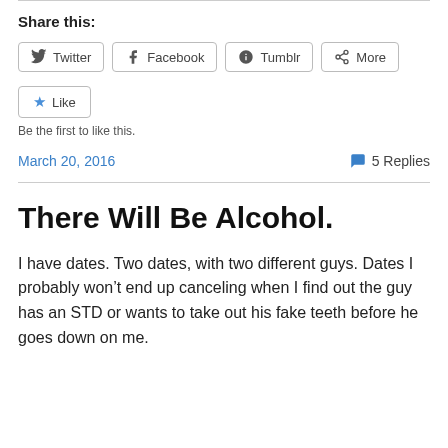Share this:
[Figure (other): Social share buttons: Twitter, Facebook, Tumblr, More]
[Figure (other): Like button with star icon]
Be the first to like this.
March 20, 2016    5 Replies
There Will Be Alcohol.
I have dates. Two dates, with two different guys. Dates I probably won’t end up canceling when I find out the guy has an STD or wants to take out his fake teeth before he goes down on me.